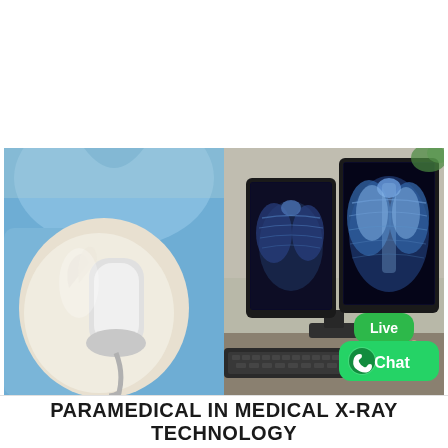[Figure (photo): Side-by-side medical photos: left shows a gloved hand holding an ultrasound probe in a clinical setting with a healthcare worker in blue scrubs; right shows two computer monitors displaying chest X-ray images with a keyboard visible in foreground, and a WhatsApp Live Chat green badge overlay in the lower right corner.]
PARAMEDICAL IN MEDICAL X-RAY TECHNOLOGY